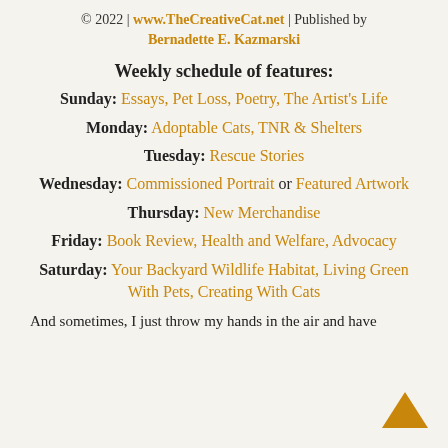© 2022 | www.TheCreativeCat.net | Published by Bernadette E. Kazmarski
Weekly schedule of features:
Sunday: Essays, Pet Loss, Poetry, The Artist's Life
Monday: Adoptable Cats, TNR & Shelters
Tuesday: Rescue Stories
Wednesday: Commissioned Portrait or Featured Artwork
Thursday: New Merchandise
Friday: Book Review, Health and Welfare, Advocacy
Saturday: Your Backyard Wildlife Habitat, Living Green With Pets, Creating With Cats
And sometimes, I just throw my hands in the air and have